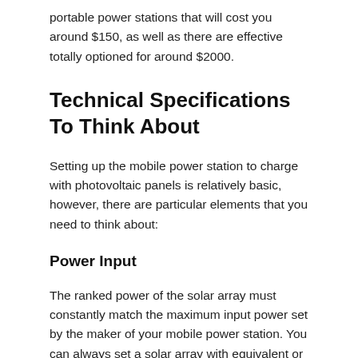portable power stations that will cost you around $150, as well as there are effective totally optioned for around $2000.
Technical Specifications To Think About
Setting up the mobile power station to charge with photovoltaic panels is relatively basic, however, there are particular elements that you need to think about:
Power Input
The ranked power of the solar array must constantly match the maximum input power set by the maker of your mobile power station. You can always set a solar array with equivalent or